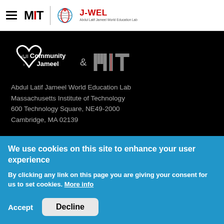MIT J-WEL | Abdul Latif Jameel World Education Lab
[Figure (logo): Community Jameel and MIT logos on black background]
Abdul Latif Jameel World Education Lab
Massachusetts Institute of Technology
600 Technology Square, NE49-2000
Cambridge, MA 02139
We use cookies on this site to enhance your user experience
By clicking any link on this page you are giving your consent for us to set cookies. More info
Accept  Decline